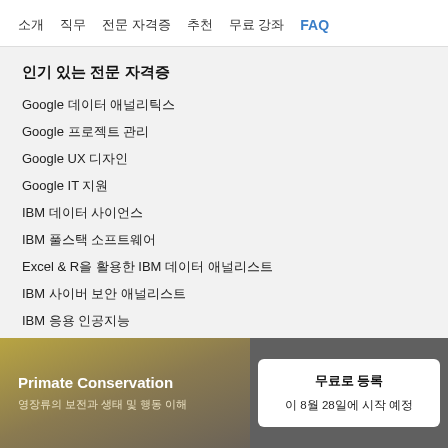소개  직무  전문 자격증  추천  무료 강좌  FAQ
인기 있는 전문 자격증
Google 데이터 애널리틱스
Google 프로젝트 관리
Google UX 디자인
Google IT 지원
IBM 데이터 사이언스
IBM 풀스택 소프트웨어
Excel & R을 활용한 IBM 데이터 애널리스트
IBM 사이버 보안 애널리스트
IBM 응용 인공지능
[Figure (infographic): Primate Conservation course banner with Korean subtitle and enrollment card showing '무료로 등록' and '이 8월 28일에 시작 예정']
Primate Conservation
영장류의 보전과 생태 및 행동 이해
무료로 등록
이 8월 28일에 시작 예정